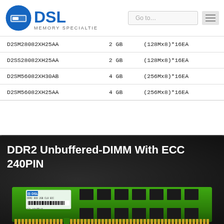DSL Memory Specialties
| Part Number | Capacity | Configuration |
| --- | --- | --- |
| D2SM28082XH25AA | 2 GB | (128Mx8)*16EA |
| D2SS28082XH25AA | 2 GB | (128Mx8)*16EA |
| D2SM56082XH30AB | 4 GB | (256Mx8)*16EA |
| D2SM56082XH25AA | 4 GB | (256Mx8)*16EA |
DDR2 Unbuffered-DIMM With ECC 240PIN
[Figure (photo): DDR2 800 2GB CL8 ECC memory module (green PCB) with DSL branding label and barcode sticker visible on top surface]